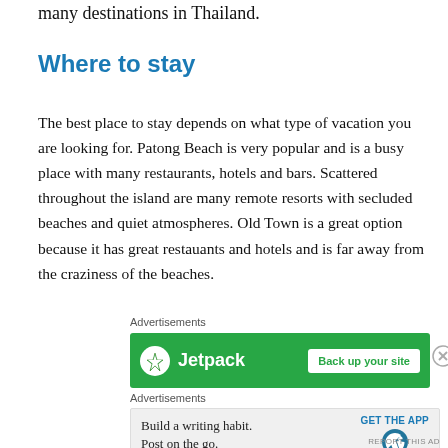many destinations in Thailand.
Where to stay
The best place to stay depends on what type of vacation you are looking for. Patong Beach is very popular and is a busy place with many restaurants, hotels and bars. Scattered throughout the island are many remote resorts with secluded beaches and quiet atmospheres. Old Town is a great option because it has great restauants and hotels and is far away from the craziness of the beaches.
Advertisements
[Figure (other): Jetpack advertisement banner with green background, Jetpack logo and 'Back up your site' button]
Advertisements
[Figure (other): WordPress advertisement: 'Build a writing habit. Post on the go.' with GET THE APP button and WordPress logo]